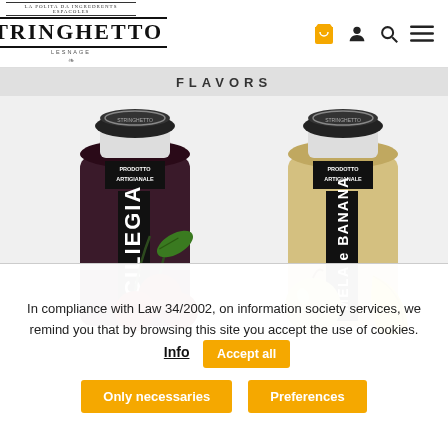STRINGHETTO
FLAVORS
[Figure (photo): Two Stringhetto jam/preserve jars: left jar is dark cherry (CILIEGIA) with cherries and a leaf; right jar is apple and banana (MELA e BANANA) with apple and banana fruits. Both jars have black labels with white text reading PRODOTTO ARTIGIANALE.]
In compliance with Law 34/2002, on information society services, we remind you that by browsing this site you accept the use of cookies.
Info
Accept all
Only necessaries
Preferences